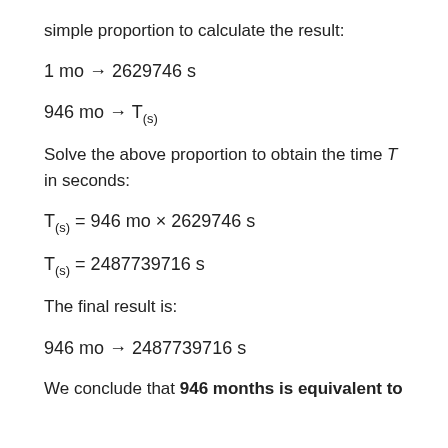simple proportion to calculate the result:
Solve the above proportion to obtain the time T in seconds:
The final result is:
We conclude that 946 months is equivalent to